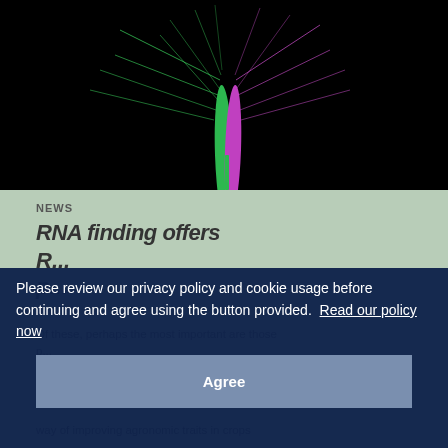[Figure (illustration): 3D visualization of a wheat spike/plant structure on a black background, with green and purple/magenta colored elements showing different parts of the plant anatomy]
NEWS
RNA finding offers...
R...
p...
8...
Of these, perhaps the most important are those affecting productivity, particularly yields, as they offer the greatest opportunity to feed the world's growing population and could provide a new way of improving agronomic traits in crops
Please review our privacy policy and cookie usage before continuing and agree using the button provided.  Read our policy now
Agree